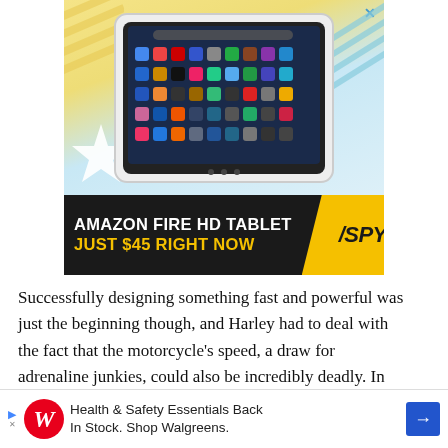[Figure (photo): Advertisement showing an Amazon Fire HD tablet with colorful app icons on the screen, against a light blue and yellow geometric background with diagonal lines decoration. Below the tablet image is a dark banner reading 'AMAZON FIRE HD TABLET JUST $45 RIGHT NOW' with a yellow SPY logo badge.]
Successfully designing something fast and powerful was just the beginning though, and Harley had to deal with the fact that the motorcycle’s speed, a draw for adrenaline junkies, could also be incredibly deadly. In the first video below, a reporter confronts Arthur about the motorcycle’s
[Figure (advertisement): Walgreens advertisement banner at bottom: Walgreens red W logo, text reading 'Health & Safety Essentials Back In Stock. Shop Walgreens.' with a blue arrow badge on the right.]